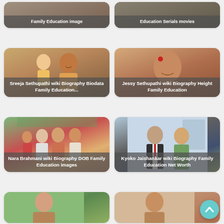[Figure (screenshot): Grid of biography article cards. Top row (partially visible): two cards labeled 'Family Education image' and 'Education Serials movies'. Second row: 'Sreeja Sethupathi wiki Biography Biodata Family Education...' and 'Jessy Sethupathi wiki Biography Height Family Education'. Third row: 'Nara Brahmani wiki Biography DOB Family Education images' and 'Kyoko Jaishankar wiki Biography Family Education Net Worth'. Fourth row (partially visible): two unlabeled photo cards. Back-to-top arrow button at bottom right.]